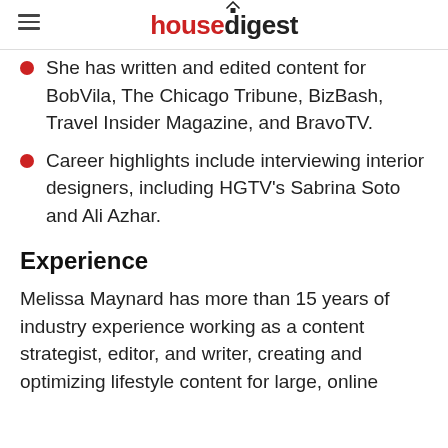housedigest
She has written and edited content for BobVila, The Chicago Tribune, BizBash, Travel Insider Magazine, and BravoTV.
Career highlights include interviewing interior designers, including HGTV's Sabrina Soto and Ali Azhar.
Experience
Melissa Maynard has more than 15 years of industry experience working as a content strategist, editor, and writer, creating and optimizing lifestyle content for large, online...